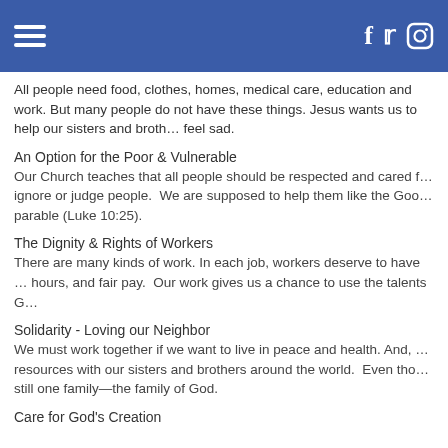All people need food, clothes, homes, medical care, education and work. But many people do not have these things. Jesus wants us to help our sisters and brothers who feel sad.
An Option for the Poor & Vulnerable
Our Church teaches that all people should be respected and cared for. We should not ignore or judge people. We are supposed to help them like the Good Samaritan in the parable (Luke 10:25).
The Dignity & Rights of Workers
There are many kinds of work. In each job, workers deserve to have safe conditions, fair hours, and fair pay. Our work gives us a chance to use the talents God gave us.
Solidarity - Loving our Neighbor
We must work together if we want to live in peace and health. And, we need to share our resources with our sisters and brothers around the world. Even though we are different, we are still one family—the family of God.
Care for God's Creation